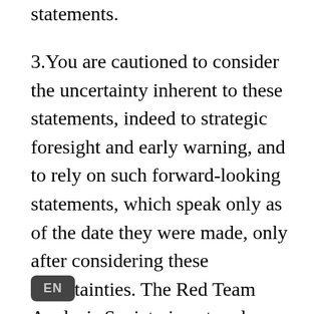statements.
3.You are cautioned to consider the uncertainty inherent to these statements, indeed to strategic foresight and early warning, and to rely on such forward-looking statements, which speak only as of the date they were made, only after considering these uncertainties. The Red Team Analysis Society is not under any obligation, and expressly disclaims any obligation, to update or alter any forward-looking statements, whether as a result of